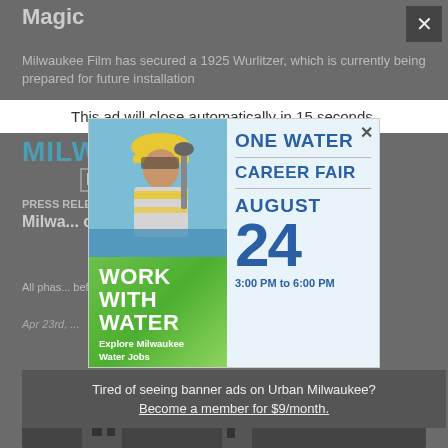Magic
Milwaukee Film has secured a 1925 Wurlitzer, which is currently being prepared for future installation
May 9th, 20...
PRESS ...
Milwaukee ... of Restoration
All phases ... before the 2019...
Apr 23rd, ...
This ad will close automatically in 15 seconds.
[Figure (infographic): One Water Career Fair advertisement banner. Left side shows a photo of a surveyor worker with yellow hard hat and vest, green panel with 'WORK WITH WATER' in bold white text and 'Explore Milwaukee Water Jobs' below. Right side on light blue background shows 'ONE WATER CAREER FAIR' in dark blue, 'AUGUST 24' in large dark blue text, and '3:00 PM to 6:00 PM' below.]
Tired of seeing banner ads on Urban Milwaukee? Become a member for $9/month.